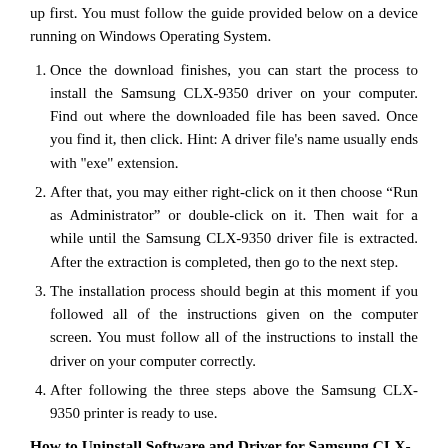up first. You must follow the guide provided below on a device running on Windows Operating System.
Once the download finishes, you can start the process to install the Samsung CLX-9350 driver on your computer. Find out where the downloaded file has been saved. Once you find it, then click. Hint: A driver file's name usually ends with "exe" extension.
After that, you may either right-click on it then choose “Run as Administrator” or double-click on it. Then wait for a while until the Samsung CLX-9350 driver file is extracted. After the extraction is completed, then go to the next step.
The installation process should begin at this moment if you followed all of the instructions given on the computer screen. You must follow all of the instructions to install the driver on your computer correctly.
After following the three steps above the Samsung CLX-9350 printer is ready to use.
How to Uninstall Software and Driver for Samsung CLX-9350?
Samsung CLX-9350 Manual Uninstallation Guide
Ensure that you follow all of the following guides, the Samsung CLX-